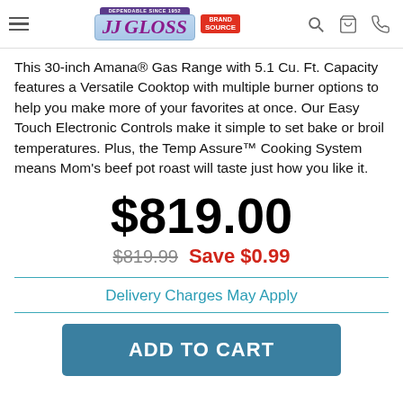JJ GLOSS - DEPENDABLE SINCE 1952 | BRAND SOURCE
This 30-inch Amana® Gas Range with 5.1 Cu. Ft. Capacity features a Versatile Cooktop with multiple burner options to help you make more of your favorites at once. Our Easy Touch Electronic Controls make it simple to set bake or broil temperatures. Plus, the Temp Assure™ Cooking System means Mom's beef pot roast will taste just how you like it.
$819.00
$819.99   Save $0.99
Delivery Charges May Apply
ADD TO CART